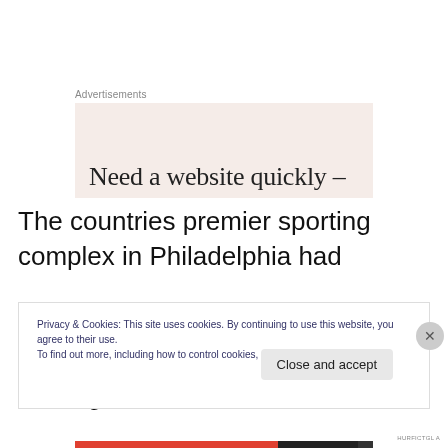Advertisements
[Figure (other): Advertisement box with beige background showing partial text: 'Need a website quickly –']
The countries premier sporting complex in Philadelphia had
tailgating starting early, the Philadelphia Eagles would be hosting the Atlanta
Falcons at Lincoln Financial Field just a stones throw, or a
Privacy & Cookies: This site uses cookies. By continuing to use this website, you agree to their use.
To find out more, including how to control cookies, see here: Cookie Policy
Close and accept